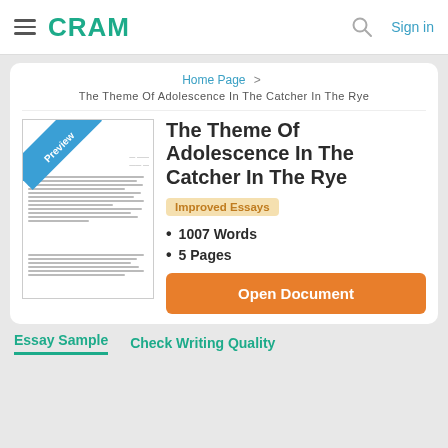CRAM  Sign in
Home Page > The Theme Of Adolescence In The Catcher In The Rye
The Theme Of Adolescence In The Catcher In The Rye
[Figure (illustration): Preview thumbnail of essay document with a blue 'Preview' banner in the top-left corner]
Improved Essays
1007 Words
5 Pages
Open Document
Essay Sample   Check Writing Quality